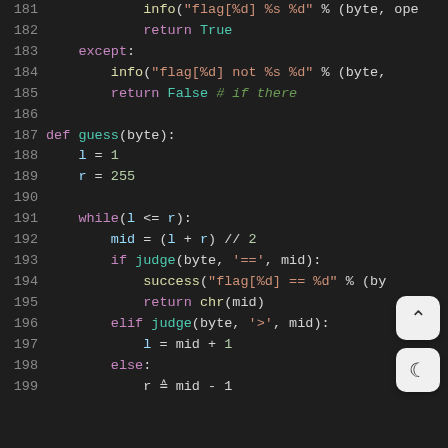[Figure (screenshot): Python code editor screenshot showing lines 181-199 of a binary search / flag guessing script with syntax highlighting on a dark background. Lines show info(), return True/False, except block, def guess(byte), variable assignments, while loop, mid calculation, if/elif/else blocks with judge() and success() calls.]